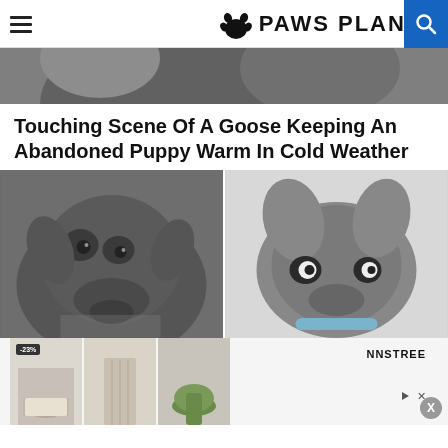PAWS PLANET
[Figure (photo): Top banner strip showing a close-up of a dark-colored dog]
Touching Scene Of A Goose Keeping An Abandoned Puppy Warm In Cold Weather
[Figure (photo): Two images side by side: left shows a dark gray dog face close-up photo; right shows a drawing/illustration of a dark puppy head with big eyes and blue collar]
[Figure (photo): Advertisement banner showing three images of women's shoes/sandals with -23% badge and NNSTREE brand]